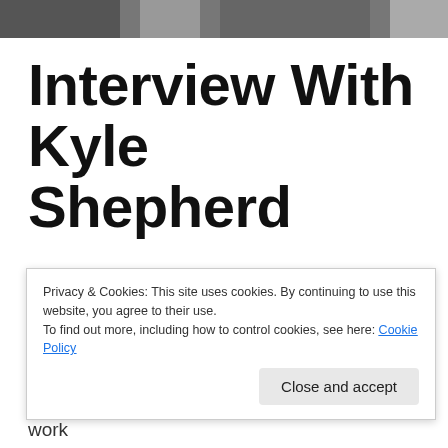[Figure (photo): Black and white photo strip at top of page, partially visible]
Interview With Kyle Shepherd
At 21 years old, Kyle Shepherd burst into the South African jazz conscience without prior warning. Following in the footsteps of heavyweights such
Privacy & Cookies: This site uses cookies. By continuing to use this website, you agree to their use.
To find out more, including how to control cookies, see here: Cookie Policy
down the line, coupled with culturally-fulfilling work